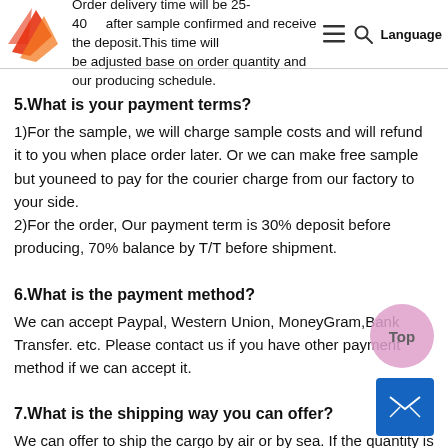Sa... delivery time will be 7-10 days. Order delivery time will be 25-40... after sample confirmed and receive the deposit. This time will be adjusted base on order quantity and our producing schedule.
5.What is your payment terms?
1)For the sample, we will charge sample costs and will refund it to you when place order later. Or we can make free sample but youneed to pay for the courier charge from our factory to your side.
2)For the order, Our payment term is 30% deposit before producing, 70% balance by T/T before shipment.
6.What is the payment method?
We can accept Paypal, Western Union, MoneyGram,Bank Transfer. etc. Please contact us if you have other payment method if we can accept it.
7.What is the shipping way you can offer?
We can offer to ship the cargo by air or by sea. If the quantity is